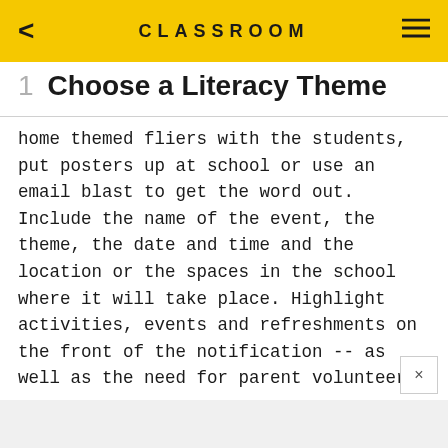CLASSROOM
1   Choose a Literacy Theme
home themed fliers with the students, put posters up at school or use an email blast to get the word out. Include the name of the event, the theme, the date and time and the location or the spaces in the school where it will take place. Highlight activities, events and refreshments on the front of the notification -- as well as the need for parent volunteers.